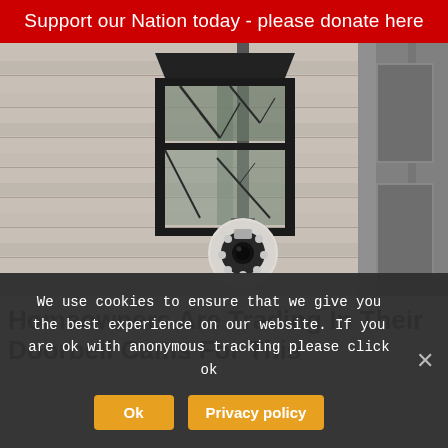Support our Nation today - please donate here
[Figure (photo): Photo of a white security camera mounted below a black outdoor wall lamp, attached to a house with beige horizontal siding, with a gray door frame visible on the right side.]
Homeowners Are Trading In Their Doorbell Cams For This
We use cookies to ensure that we give you the best experience on our website. If you are ok with anonymous tracking please click ok
Ok  Privacy policy